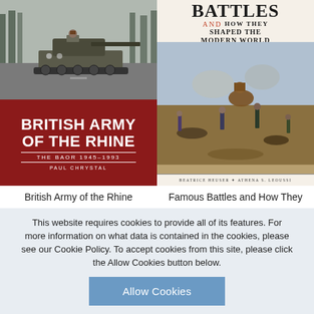[Figure (photo): Book cover: British Army of the Rhine - The BAOR 1945-1993 by Paul Chrystal. Red lower half with white bold text, upper half shows a military tank on a road.]
[Figure (photo): Book cover: Famous Battles and How They Shaped the Modern World 1588-1943 From the Armada to Stalingrad by Beatrice Heuser and Athena S. Leoussi. Cream background with historical battle illustration.]
British Army of the Rhine
Famous Battles and How They
This website requires cookies to provide all of its features. For more information on what data is contained in the cookies, please see our Cookie Policy. To accept cookies from this site, please click the Allow Cookies button below.
Allow Cookies